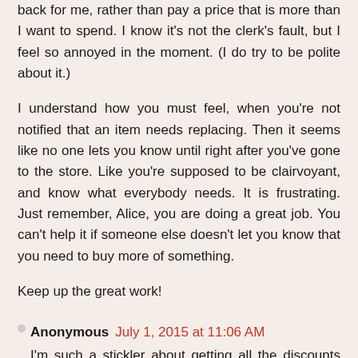back for me, rather than pay a price that is more than I want to spend. I know it's not the clerk's fault, but I feel so annoyed in the moment. (I do try to be polite about it.)
I understand how you must feel, when you're not notified that an item needs replacing. Then it seems like no one lets you know until right after you've gone to the store. Like you're supposed to be clairvoyant, and know what everybody needs. It is frustrating. Just remember, Alice, you are doing a great job. You can't help it if someone else doesn't let you know that you need to buy more of something.
Keep up the great work!
Anonymous
July 1, 2015 at 11:06 AM
I'm such a stickler about getting all the discounts (sale, coupon, points etc) that I know I am not a valued customer. At some stores like Kmart and